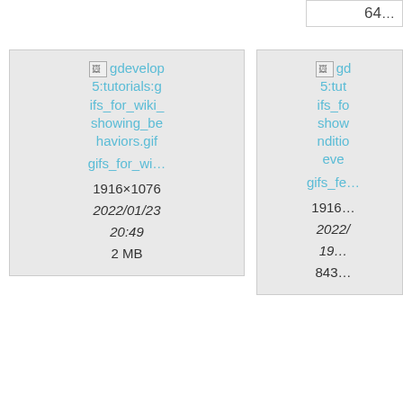64...
[Figure (screenshot): File card for gdevelop5:tutorials:gifs_for_wiki_showing_behaviors.gif, showing broken image icon, link text, filename truncated as 'gifs_for_wi...', dimensions 1916×1076, date 2022/01/23 20:49, size 2 MB]
[Figure (screenshot): Partial file card for gdevelop5:tutorials:gifs_for_wiki showing_conditions_events (truncated), with broken image icon, filename 'gifs_fe...', dimensions 1916×..., date 2022/..., size 19... 843...]
[Figure (screenshot): File card for gdevelop5:tutorials:grasshalfmid.png, showing broken image icon, link text, filename truncated as 'grasshalf...', dimensions 70×40, date 2021/11/22 23:06]
[Figure (screenshot): Partial file card for gdevelop5:tutorials:guide-c... ev... param..., with broken image icon, link 'hide-c...', size 255...]